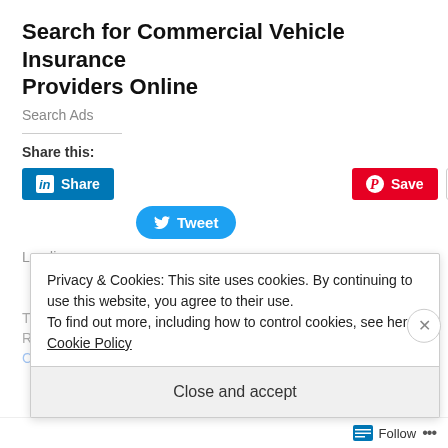Search for Commercial Vehicle Insurance Providers Online
Search Ads
Share this:
[Figure (screenshot): Social share buttons: LinkedIn Share, Pinterest Save, More, Tweet]
Loading...
Privacy & Cookies: This site uses cookies. By continuing to use this website, you agree to their use.
To find out more, including how to control cookies, see here: Cookie Policy
Close and accept
Follow ...